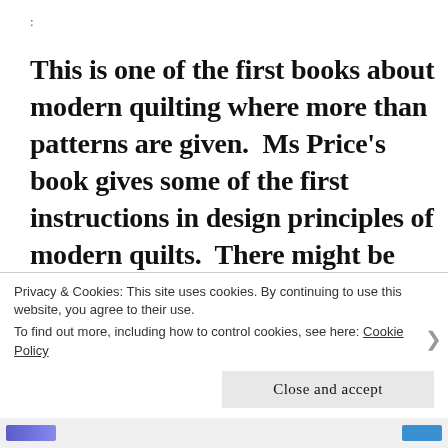:
This is one of the first books about modern quilting where more than patterns are given.  Ms Price's book gives some of the first instructions in design principles of modern quilts.  There might be other books out there that give instruction in modern design ascetic but I have not found one.  Most of the books I have read are more pattern books without any in-
Privacy & Cookies: This site uses cookies. By continuing to use this website, you agree to their use.
To find out more, including how to control cookies, see here: Cookie Policy
Close and accept